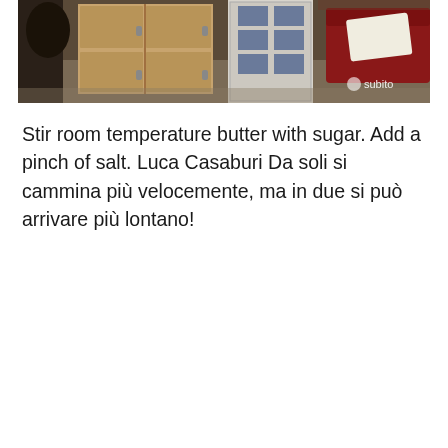[Figure (photo): Interior room photo showing a wooden wardrobe/dresser on the left, a white door with blue glass panes in the center, and a red sofa with a white pillow on the right. Subito.it watermark visible in bottom right.]
Stir room temperature butter with sugar. Add a pinch of salt. Luca Casaburi Da soli si cammina più velocemente, ma in due si può arrivare più lontano!